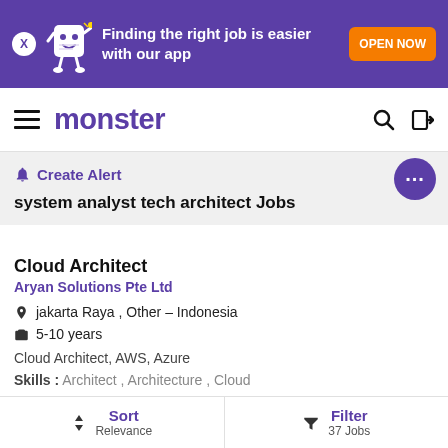[Figure (screenshot): Monster job search app promotional banner with mascot character, 'Finding the right job is easier with our app' text, and OPEN NOW button]
monster
Create Alert
system analyst tech architect Jobs
Cloud Architect
Aryan Solutions Pte Ltd
jakarta Raya , Other - Indonesia
5-10 years
Cloud Architect, AWS, Azure
Skills : Architect , Architecture , Cloud
Sort Relevance | Filter 37 Jobs